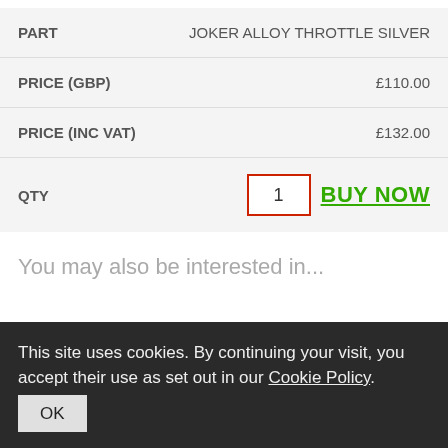| Field | Value |
| --- | --- |
| PART | JOKER ALLOY THROTTLE SILVER |
| PRICE (GBP) | £110.00 |
| PRICE (INC VAT) | £132.00 |
| QTY | 1 | BUY NOW |
You may also be interested in...
This site uses cookies. By continuing your visit, you accept their use as set out in our Cookie Policy.